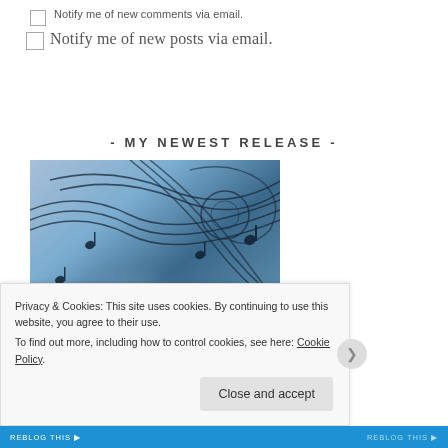Notify me of new comments via email.
Notify me of new posts via email.
- MY NEWEST RELEASE -
[Figure (photo): Book cover image with musical notes swirling around figures against a blue/dark atmospheric background]
Privacy & Cookies: This site uses cookies. By continuing to use this website, you agree to their use.
To find out more, including how to control cookies, see here: Cookie Policy
Close and accept